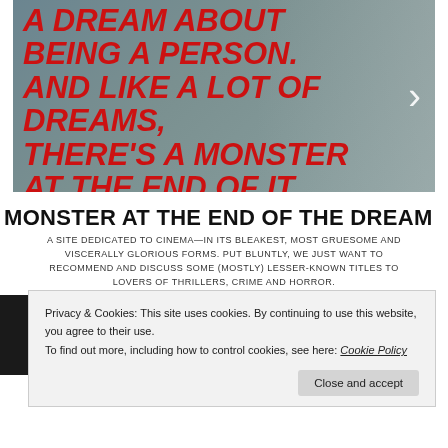[Figure (photo): Black and white movie still with bold red italic text overlay reading: 'A DREAM ABOUT BEING A PERSON. AND LIKE A LOT OF DREAMS, THERE'S A MONSTER AT THE END OF IT.' with a right-arrow navigation button on a muted teal background.]
MONSTER AT THE END OF THE DREAM
A SITE DEDICATED TO CINEMA—IN ITS BLEAKEST, MOST GRUESOME AND VISCERALLY GLORIOUS FORMS. PUT BLUNTLY, WE JUST WANT TO RECOMMEND AND DISCUSS SOME (MOSTLY) LESSER-KNOWN TITLES TO LOVERS OF THRILLERS, CRIME AND HORROR.
Privacy & Cookies: This site uses cookies. By continuing to use this website, you agree to their use.
To find out more, including how to control cookies, see here: Cookie Policy
Close and accept